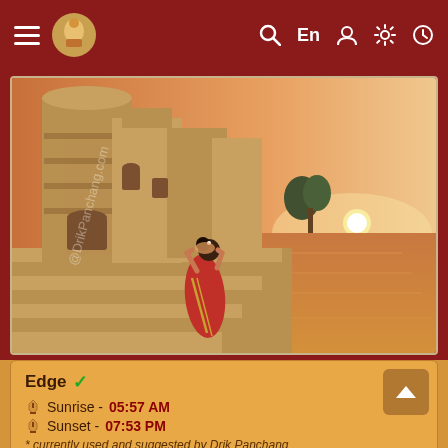Navigation bar with hamburger menu, logo, search, En, user, settings, clock icons
[Figure (illustration): Illustration of a woman in red saree standing on ghats (river steps) near ancient temple/building structures, praying toward a sunset over a calm river. Warm golden-orange tones. Watermark: @DrikPanchang.com]
Edge ✓
🔔 Sunrise - 05:57 AM
🔔 Sunset - 07:53 PM
* currently used and suggested by Drik Panchang
Middle Limb